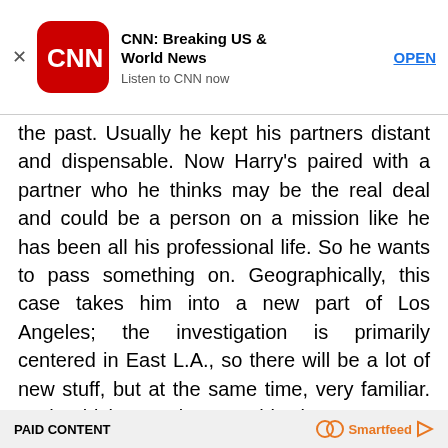[Figure (screenshot): CNN app advertisement banner with CNN logo, title 'CNN: Breaking US & World News', subtitle 'Listen to CNN now', and OPEN button]
the past. Usually he kept his partners distant and dispensable. Now Harry's paired with a partner who he thinks may be the real deal and could be a person on a mission like he has been all his professional life. So he wants to pass something on. Geographically, this case takes him into a new part of Los Angeles; the investigation is primarily centered in East L.A., so there will be a lot of new stuff, but at the same time, very familiar. It should be coming out this time next year and hopefully will coincide with the TV show.
PAID CONTENT   Smartfeed